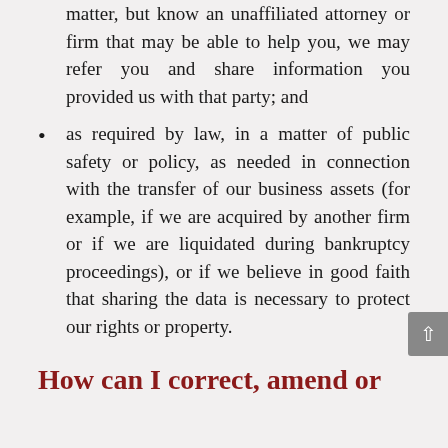matter, but know an unaffiliated attorney or firm that may be able to help you, we may refer you and share information you provided us with that party; and
as required by law, in a matter of public safety or policy, as needed in connection with the transfer of our business assets (for example, if we are acquired by another firm or if we are liquidated during bankruptcy proceedings), or if we believe in good faith that sharing the data is necessary to protect our rights or property.
How can I correct, amend or